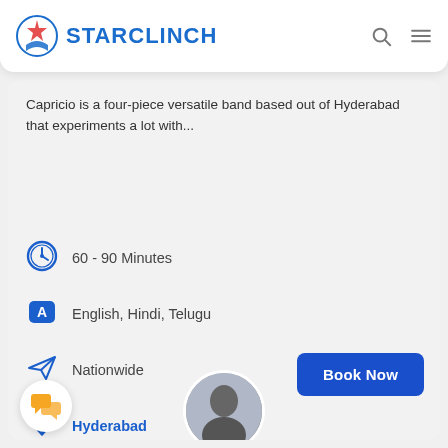STARCLINCH
Capricio is a four-piece versatile band based out of Hyderabad that experiments a lot with...
60 - 90 Minutes
English, Hindi, Telugu
Nationwide
Hyderabad
Book Now
[Figure (illustration): Chat/message icon in orange/yellow on white circular background]
[Figure (photo): Circular cropped photo of a person/band member at bottom center]